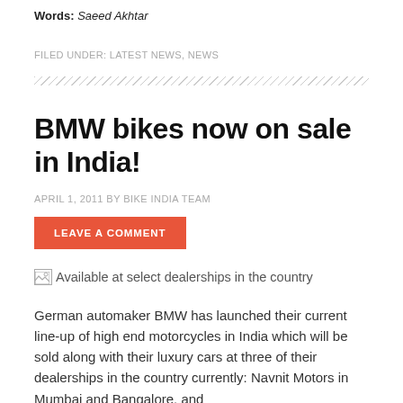Words: Saeed Akhtar
FILED UNDER: LATEST NEWS, NEWS
BMW bikes now on sale in India!
APRIL 1, 2011 BY BIKE INDIA TEAM
LEAVE A COMMENT
[Figure (photo): Image placeholder with alt text: Available at select dealerships in the country]
German automaker BMW has launched their current line-up of high end motorcycles in India which will be sold along with their luxury cars at three of their dealerships in the country currently: Navnit Motors in Mumbai and Bangalore, and